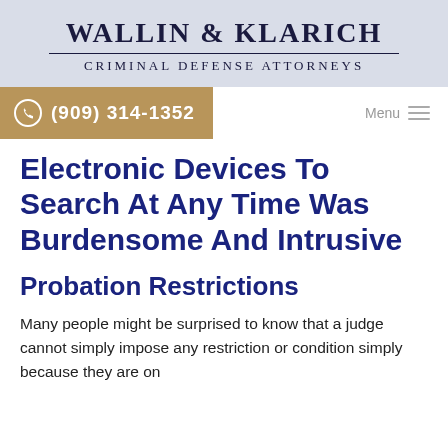WALLIN & KLARICH
CRIMINAL DEFENSE ATTORNEYS
(909) 314-1352
Electronic Devices To Search At Any Time Was Burdensome And Intrusive
Probation Restrictions
Many people might be surprised to know that a judge cannot simply impose any restriction or condition simply because they are on